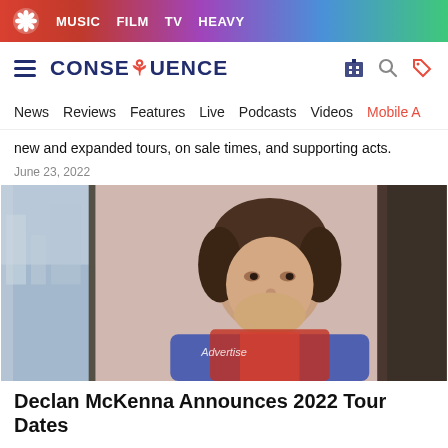MUSIC  FILM  TV  HEAVY
CONSEQUENCE
News  Reviews  Features  Live  Podcasts  Videos  Mobile A
new and expanded tours, on sale times, and supporting acts.
June 23, 2022
[Figure (photo): Young man with messy brown hair looking sideways near a window, city skyline visible in background, wearing a red and blue jacket. Photo contains 'Advertise' watermark overlay.]
Declan McKenna Announces 2022 Tour Dates